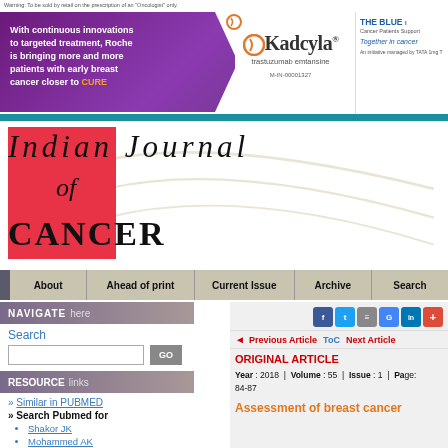[Figure (other): Advertisement banner for Kadcyla (trastuzumab emtansine) by Roche with The Blue Cancer Patients Support logo. Purple arrow graphic on left with text about continuous innovations to targeted treatment. Kadcyla logo in center. The Blue initiative on right.]
[Figure (logo): Indian Journal of Cancer journal logo with red box background and decorative swoosh lines]
About | Ahead of print | Current Issue | Archive | Search
NAVIGATE here
Search
RESOURCE links
» Similar in PUBMED
» Search Pubmed for
Shakor JK
Mohammed AK
ORIGINAL ARTICLE
Year : 2018 | Volume : 55 | Issue : 1 | Page: 84-87
Assessment of breast cancer